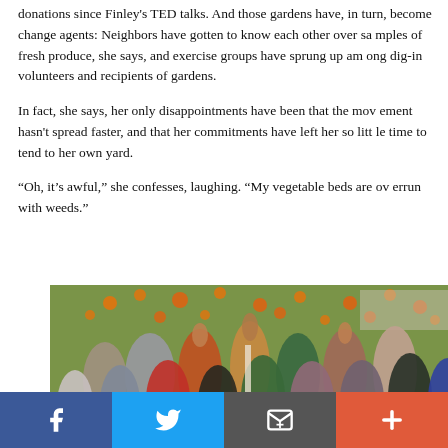donations since Finley's TED talks. And those gardens have, in turn, become change agents: Neighbors have gotten to know each other over samples of fresh produce, she says, and exercise groups have sprung up among dig-in volunteers and recipients of gardens.
In fact, she says, her only disappointments have been that the movement hasn't spread faster, and that her commitments have left her so little time to tend to her own yard.
“Oh, it’s awful,” she confesses, laughing. “My vegetable beds are overrun with weeds.”
[Figure (photo): Group photo of diverse community volunteers and garden recipients standing and smiling outdoors in front of an orange/citrus tree and a house. Several people are waving their hands. Some hold gardening tools and produce.]
f  [Twitter bird icon]  [Email icon]  +